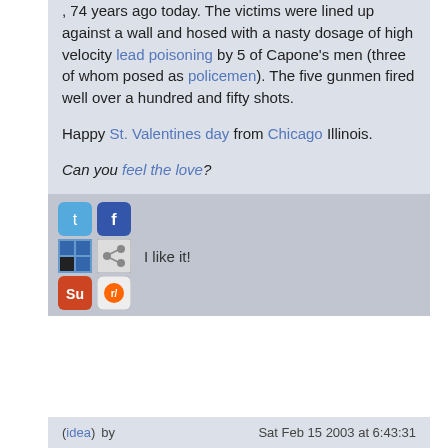1929, 74 years ago today. The victims were lined up against a wall and hosed with a nasty dosage of high velocity lead poisoning by 5 of Capone's men (three of whom posed as policemen). The five gunmen fired well over a hundred and fifty shots.

Happy St. Valentines day from Chicago Illinois.

Can you feel the love?
[Figure (infographic): Social sharing buttons: Twitter, Facebook, Delicious, Diigo (share), StumbleUpon, Reddit icons with 'I like it!' text]
(idea) by   Sat Feb 15 2003 at 6:43:31